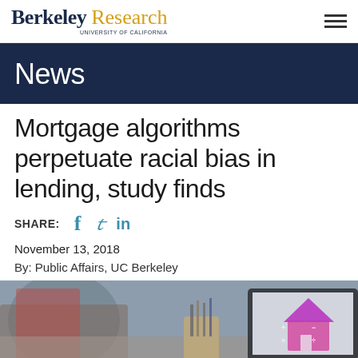Berkeley Research
News
Mortgage algorithms perpetuate racial bias in lending, study finds
SHARE: f  in
November 13, 2018
By: Public Affairs, UC Berkeley
[Figure (photo): Blurred desk scene with laptop showing a colorful house-shaped mortgage calculator icon; pencil/pen holders and red book in foreground]